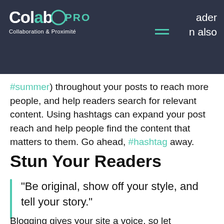ColabPRO Collaboration & Proximité
#summer) throughout your posts to reach more people, and help readers search for relevant content. Using hashtags can expand your post reach and help people find the content that matters to them. Go ahead, #hashtag away.
Stun Your Readers
“Be original, show off your style, and tell your story.”
Blogging gives your site a voice, so let